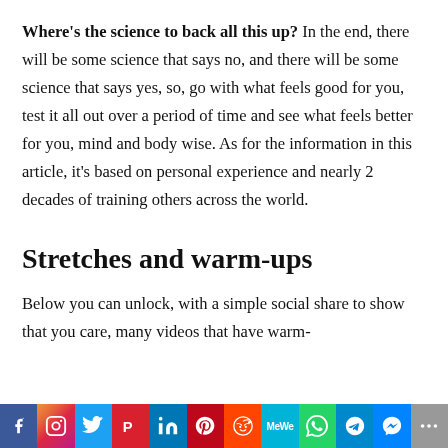Where's the science to back all this up? In the end, there will be some science that says no, and there will be some science that says yes, so, go with what feels good for you, test it all out over a period of time and see what feels better for you, mind and body wise. As for the information in this article, it's based on personal experience and nearly 2 decades of training others across the world.
Stretches and warm-ups
Below you can unlock, with a simple social share to show that you care, many videos that have warm-